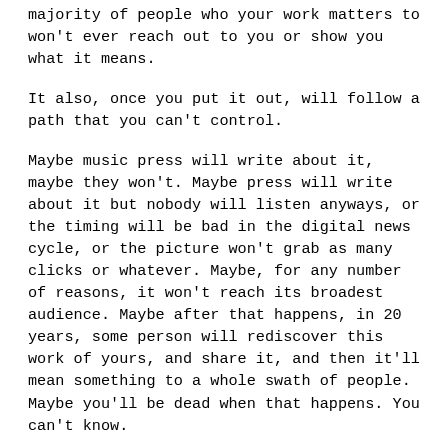majority of people who your work matters to won't ever reach out to you or show you what it means.
It also, once you put it out, will follow a path that you can't control.
Maybe music press will write about it, maybe they won't. Maybe press will write about it but nobody will listen anyways, or the timing will be bad in the digital news cycle, or the picture won't grab as many clicks or whatever. Maybe, for any number of reasons, it won't reach its broadest audience. Maybe after that happens, in 20 years, some person will rediscover this work of yours, and share it, and then it'll mean something to a whole swath of people. Maybe you'll be dead when that happens. You can't know.
It's not possible to trace the path of meaning that your work will follow. And the longer the work is out there,